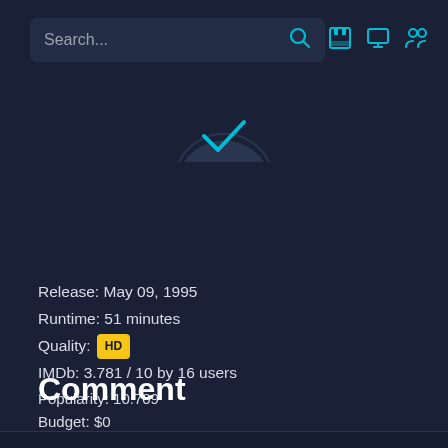Search...
[Figure (illustration): Circular avatar/checkmark icon in the upper center area showing a dark circle with a cyan checkmark]
Release: May 09, 1995
Runtime: 51 minutes
Quality: HD
IMDb: 3.781 / 10 by 16 users
Popularity: 10.709
Budget: $0
Revenue: $0
Language:
Comment